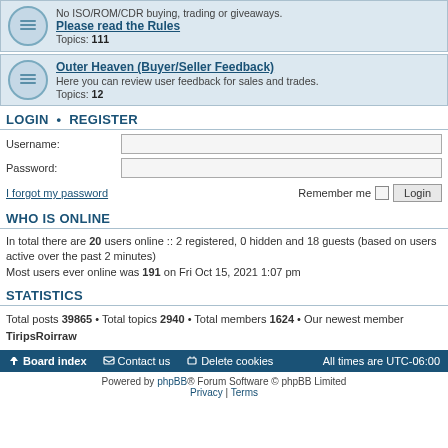No ISO/ROM/CDR buying, trading or giveaways. Please read the Rules Topics: 111
Outer Heaven (Buyer/Seller Feedback) Here you can review user feedback for sales and trades. Topics: 12
LOGIN • REGISTER
Username:
Password:
I forgot my password   Remember me  Login
WHO IS ONLINE
In total there are 20 users online :: 2 registered, 0 hidden and 18 guests (based on users active over the past 2 minutes) Most users ever online was 191 on Fri Oct 15, 2021 1:07 pm
STATISTICS
Total posts 39865 • Total topics 2940 • Total members 1624 • Our newest member TiripsRoirraw
Board index   Contact us   Delete cookies   All times are UTC-06:00
Powered by phpBB® Forum Software © phpBB Limited Privacy | Terms